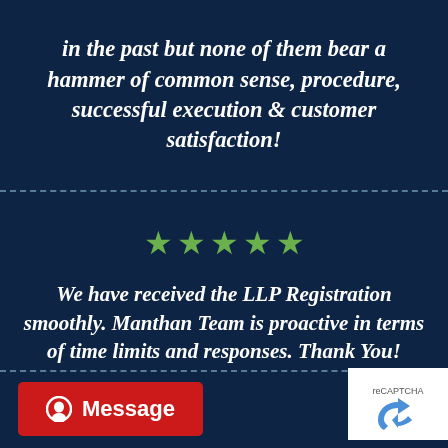in the past but none of them bear a hammer of common sense, procedure, successful execution & customer satisfaction!
[Figure (other): Five green star rating symbols]
We have received the LLP Registration smoothly. Manthan Team is proactive in terms of time limits and responses. Thank You!
[Figure (other): Red Message button with alien/chat icon and reCAPTCHA logo partially visible]